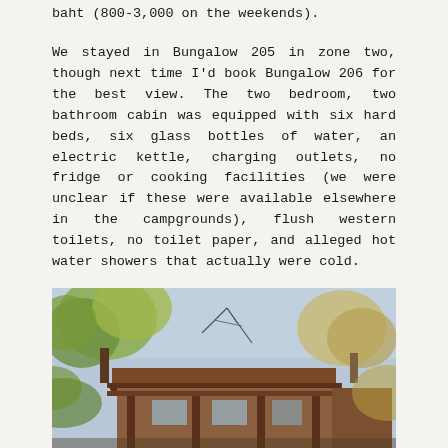baht (800-3,000 on the weekends).
We stayed in Bungalow 205 in zone two, though next time I'd book Bungalow 206 for the best view. The two bedroom, two bathroom cabin was equipped with six hard beds, six glass bottles of water, an electric kettle, charging outlets, no fridge or cooking facilities (we were unclear if these were available elsewhere in the campgrounds), flush western toilets, no toilet paper, and alleged hot water showers that actually were cold.
[Figure (photo): Exterior photo of a wooden bungalow cabin with a sloped roof, surrounded by trees with autumn foliage in yellow and green. An antenna is visible. The structure appears to be a rustic lodging cabin.]